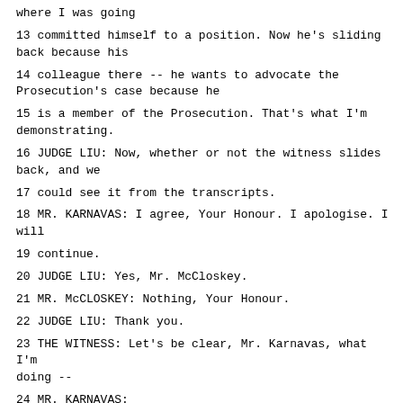where I was going
13 committed himself to a position. Now he's sliding back because his
14 colleague there -- he wants to advocate the Prosecution's case because he
15 is a member of the Prosecution. That's what I'm demonstrating.
16 JUDGE LIU: Now, whether or not the witness slides back, and we
17 could see it from the transcripts.
18 MR. KARNAVAS: I agree, Your Honour. I apologise. I will
19 continue.
20 JUDGE LIU: Yes, Mr. McCloskey.
21 MR. McCLOSKEY: Nothing, Your Honour.
22 JUDGE LIU: Thank you.
23 THE WITNESS: Let's be clear, Mr. Karnavas, what I'm doing --
24 MR. KARNAVAS: